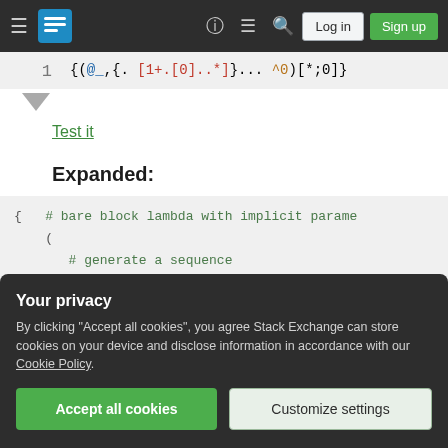Stack Exchange navigation bar with hamburger menu, logo, help, chat, search icons, Log in and Sign up buttons
{(@_,{.[1+.[0]..*]}...^0)[*;0]}
[Figure (screenshot): Down arrow triangle indicator]
Test it
Expanded:
{   # bare block lambda with implicit parame
    (
        # generate a sequence

        @_,
Your privacy
By clicking "Accept all cookies", you agree Stack Exchange can store cookies on your device and disclose information in accordance with our Cookie Policy.
Accept all cookies   Customize settings